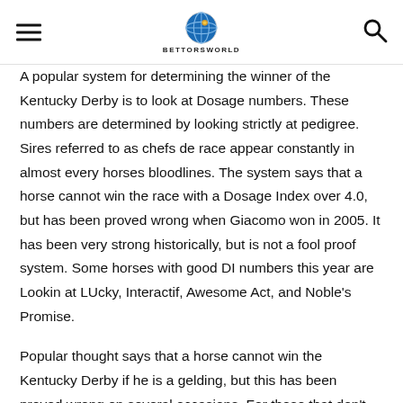BettorsWorld logo with hamburger menu and search icon
A popular system for determining the winner of the Kentucky Derby is to look at Dosage numbers. These numbers are determined by looking strictly at pedigree. Sires referred to as chefs de race appear constantly in almost every horses bloodlines. The system says that a horse cannot win the race with a Dosage Index over 4.0, but has been proved wrong when Giacomo won in 2005. It has been very strong historically, but is not a fool proof system. Some horses with good DI numbers this year are Lookin at LUcky, Interactif, Awesome Act, and Noble's Promise.
Popular thought says that a horse cannot win the Kentucky Derby if he is a gelding, but this has been proved wrong on several occasions. For those that don't know, gelding is when a horse is castrated. This can be done because of a medical issue, or a colt may just be too focused on the fillies. Often